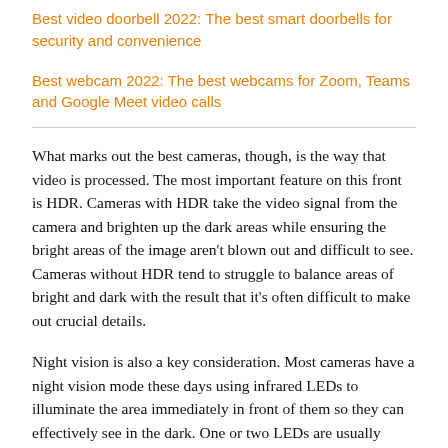Best video doorbell 2022: The best smart doorbells for security and convenience
Best webcam 2022: The best webcams for Zoom, Teams and Google Meet video calls
What marks out the best cameras, though, is the way that video is processed. The most important feature on this front is HDR. Cameras with HDR take the video signal from the camera and brighten up the dark areas while ensuring the bright areas of the image aren't blown out and difficult to see. Cameras without HDR tend to struggle to balance areas of bright and dark with the result that it's often difficult to make out crucial details.
Night vision is also a key consideration. Most cameras have a night vision mode these days using infrared LEDs to illuminate the area immediately in front of them so they can effectively see in the dark. One or two LEDs are usually enough to light up a small or medium-sized room but, for larger rooms and outdoor spaces, you may need a